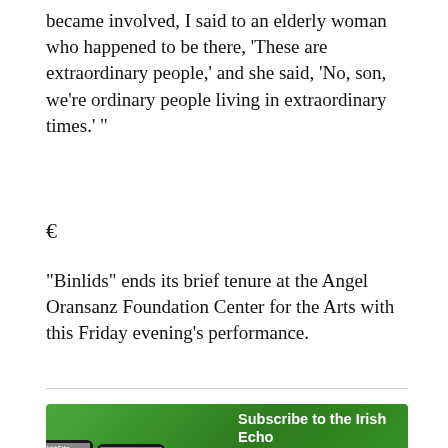became involved, I said to an elderly woman who happened to be there, 'These are extraordinary people,' and she said, 'No, son, we're ordinary people living in extraordinary times.' "
€
"Binlids" ends its brief tenure at the Angel Oransanz Foundation Center for the Arts with this Friday evening's performance.
[Figure (infographic): Irish Echo subscription advertisement banner with green gradient background. Shows multiple device mockups (tablet, phone, smaller phone) displaying Irish Echo newspaper. Text reads 'Subscribe to the Irish Echo online from just $5' with a 'BUY SUBSCRIPTION' button and App Store download button.]